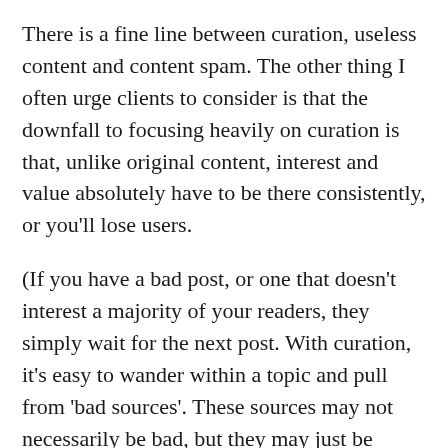There is a fine line between curation, useless content and content spam. The other thing I often urge clients to consider is that the downfall to focusing heavily on curation is that, unlike original content, interest and value absolutely have to be there consistently, or you'll lose users.
(If you have a bad post, or one that doesn't interest a majority of your readers, they simply wait for the next post. With curation, it's easy to wander within a topic and pull from 'bad sources'. These sources may not necessarily be bad, but they may just be something that your target audience already reads and visits on a consistent basis. Your site, therefore, would just be repetitive. The debate over Alltop that was hot a few years ago is a great example of this.)
While I like targeted curation with a point or a purpose, I'm more of the opinion that you're better to